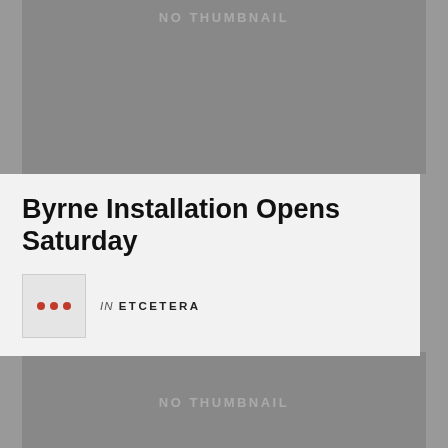[Figure (other): Gray placeholder image with 'NO THUMBNAIL' text, top of page]
Byrne Installation Opens Saturday
in ETCETERA
[Figure (other): Gray placeholder image with 'NO THUMBNAIL' text, bottom of page]